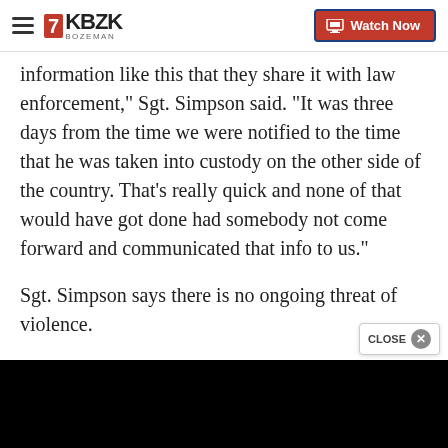KBZK BOZEMAN | Watch Now
information like this that they share it with law enforcement," Sgt. Simpson said. "It was three days from the time we were notified to the time that he was taken into custody on the other side of the country. That's really quick and none of that would have got done had somebody not come forward and communicated that info to us."
Sgt. Simpson says there is no ongoing threat of violence.
Polson Police, the Lake County Sheriff's Office, an